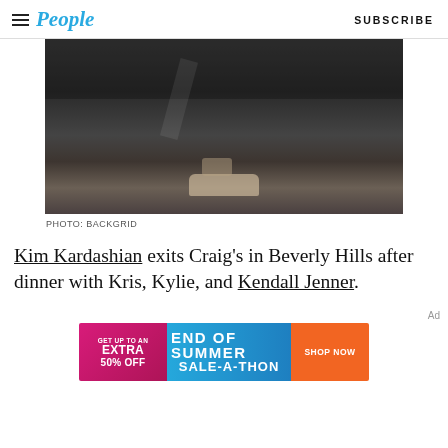People | SUBSCRIBE
[Figure (photo): Close-up photo of bare feet on pavement, person wearing black pants, walking outdoors at night]
PHOTO: BACKGRID
Kim Kardashian exits Craig’s in Beverly Hills after dinner with Kris, Kylie, and Kendall Jenner.
Ad
[Figure (other): Advertisement banner: GET UP TO AN EXTRA 50% OFF END OF SUMMER SALE-A-THON SHOP NOW]